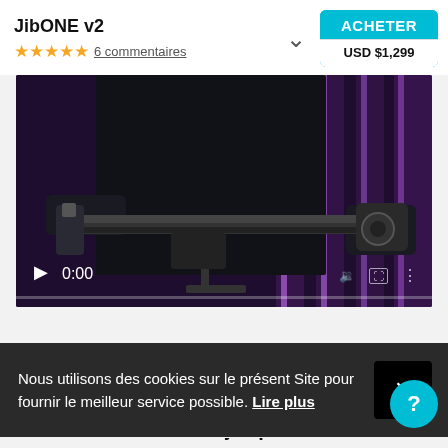JibONE v2
★★★★★ 6 commentaires
ACHETER USD $1,299
[Figure (screenshot): Video player showing a person holding a camera jib/slider device (JibONE v2) against a purple background with vertical light strips. Video controls show 0:00 timestamp and playback controls.]
Nous utilisons des cookies sur le présent Site pour fournir le meilleur service possible. Lire plus